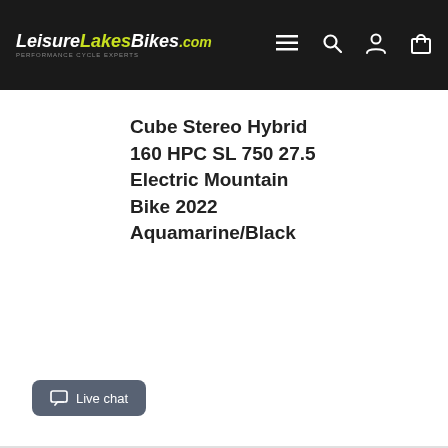LeisureLakesBikes.com — navigation bar with menu, search, account, and cart icons
Cube Stereo Hybrid 160 HPC SL 750 27.5 Electric Mountain Bike 2022 Aquamarine/Black
Live chat